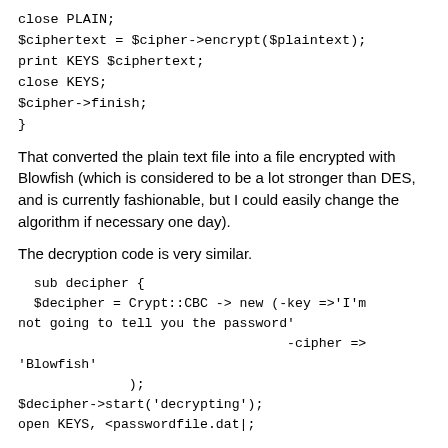close PLAIN;
$ciphertext = $cipher->encrypt($plaintext);
print KEYS $ciphertext;
close KEYS;
$cipher->finish;
}
That converted the plain text file into a file encrypted with Blowfish (which is considered to be a lot stronger than DES, and is currently fashionable, but I could easily change the algorithm if necessary one day).
The decryption code is very similar.
sub decipher {
  $decipher = Crypt::CBC -> new (-key =>'I'm
not going to tell you the password'
                                  -cipher =>
'Blowfish'
              );
$decipher->start('decrypting');
open KEYS, <passwordfile.dat|;